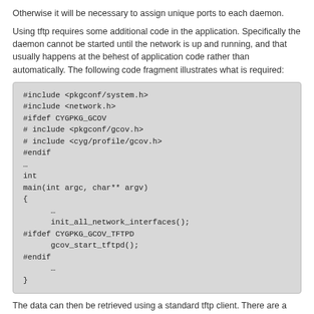Otherwise it will be necessary to assign unique ports to each daemon.
Using tftp requires some additional code in the application. Specifically the daemon cannot be started until the network is up and running, and that usually happens at the behest of application code rather than automatically. The following code fragment illustrates what is required:
#include <pkgconf/system.h>
#include <network.h>
#ifdef CYGPKG_GCOV
# include <pkgconf/gcov.h>
# include <cyg/profile/gcov.h>
#endif
…
int
main(int argc, char** argv)
{
      …
      init_all_network_interfaces();
#ifdef CYGPKG_GCOV_TFTPD
      gcov_start_tftpd();
#endif
      …
}
The data can then be retrieved using a standard tftp client. There are a number of such clients available with very different interfaces, but a typical